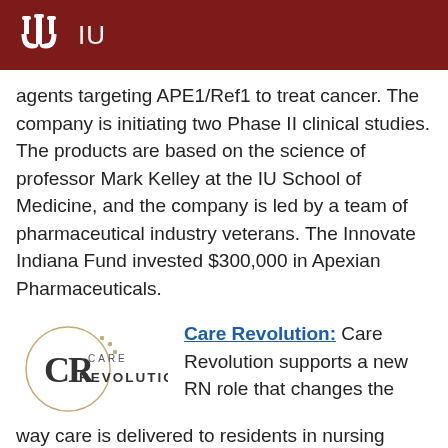IU
agents targeting APE1/Ref1 to treat cancer. The company is initiating two Phase II clinical studies. The products are based on the science of professor Mark Kelley at the IU School of Medicine, and the company is led by a team of pharmaceutical industry veterans. The Innovate Indiana Fund invested $300,000 in Apexian Pharmaceuticals.
[Figure (logo): Care Revolution logo — circular emblem with 'CR' monogram and 'CARE REVOLUTION' text]
Care Revolution: Care Revolution supports a new RN role that changes the way care is delivered to residents in nursing homes, increasing the quality of care and significantly reducing hospitalization. The service is based on the successful OPTIMISTIC demonstration project led by Dr. Kathleen